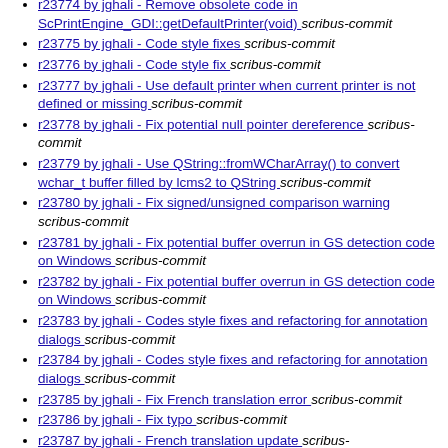r23774 by jghali - Remove obsolete code in ScPrintEngine_GDI::getDefaultPrinter(void)  scribus-commit
r23775 by jghali - Code style fixes  scribus-commit
r23776 by jghali - Code style fix  scribus-commit
r23777 by jghali - Use default printer when current printer is not defined or missing  scribus-commit
r23778 by jghali - Fix potential null pointer dereference  scribus-commit
r23779 by jghali - Use QString::fromWCharArray() to convert wchar_t buffer filled by lcms2 to QString  scribus-commit
r23780 by jghali - Fix signed/unsigned comparison warning  scribus-commit
r23781 by jghali - Fix potential buffer overrun in GS detection code on Windows  scribus-commit
r23782 by jghali - Fix potential buffer overrun in GS detection code on Windows  scribus-commit
r23783 by jghali - Codes style fixes and refactoring for annotation dialogs  scribus-commit
r23784 by jghali - Codes style fixes and refactoring for annotation dialogs  scribus-commit
r23785 by jghali - Fix French translation error  scribus-commit
r23786 by jghali - Fix typo  scribus-commit
r23787 by jghali - French translation update  scribus-commit